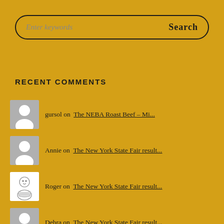Enter keywords  Search
RECENT COMMENTS
gursol on  The NEBA Roast Beef – Mi...
Annie on  The New York State Fair result...
Roger on  The New York State Fair result...
Debra on  The New York State Fair result...
cp retiree on  What's Up in the Neighbo...
Jacob Gilbert on  The Nightowl Radio Show playli